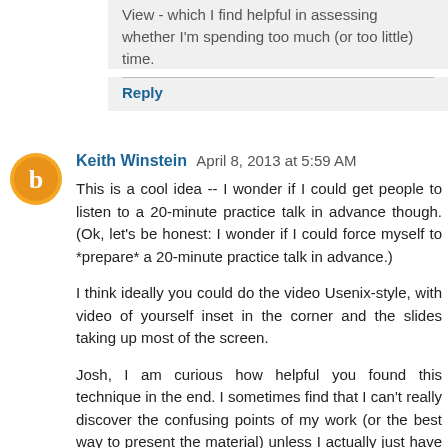View - which I find helpful in assessing whether I'm spending too much (or too little) time.
Reply
Keith Winstein  April 8, 2013 at 5:59 AM
This is a cool idea -- I wonder if I could get people to listen to a 20-minute practice talk in advance though. (Ok, let's be honest: I wonder if I could force myself to *prepare* a 20-minute practice talk in advance.)
I think ideally you could do the video Usenix-style, with video of yourself inset in the corner and the slides taking up most of the screen.
Josh, I am curious how helpful you found this technique in the end. I sometimes find that I can't really discover the confusing points of my work (or the best way to present the material) unless I actually just have a conversation with somebody and let us go back and forth until they really